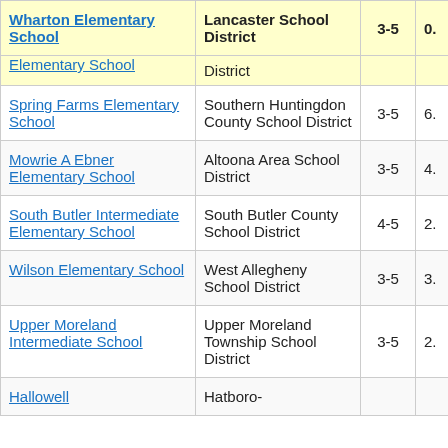| School | District | Grades | Score |
| --- | --- | --- | --- |
| Wharton Elementary School | Lancaster School District | 3-5 | 0. |
| Elementary School | District |  |  |
| Spring Farms Elementary School | Southern Huntingdon County School District | 3-5 | 6. |
| Mowrie A Ebner Elementary School | Altoona Area School District | 3-5 | 4. |
| South Butler Intermediate Elementary School | South Butler County School District | 4-5 | 2. |
| Wilson Elementary School | West Allegheny School District | 3-5 | 3. |
| Upper Moreland Intermediate School | Upper Moreland Township School District | 3-5 | 2. |
| Hallowell | Hatboro- |  |  |